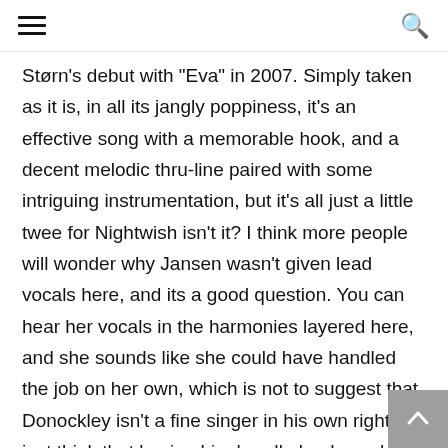☰ [hamburger menu] [search icon]
Størn's debut with "Eva" in 2007. Simply taken as it is, in all its jangly poppiness, it's an effective song with a memorable hook, and a decent melodic thru-line paired with some intriguing instrumentation, but it's all just a little twee for Nightwish isn't it? I think more people will wonder why Jansen wasn't given lead vocals here, and its a good question. You can hear her vocals in the harmonies layered here, and she sounds like she could have handled the job on her own, which is not to suggest that Donockley isn't a fine singer in his own right. I just think that having him handle lead vocals results in the song coming across as more Rusted Root neo-hippie zeal than anything I'd associate with Nightwish, where we were accustomed to male vocals only in the form of the tortured anguish of Hietala's inimitable style. And then there's the second disc, which is actually enjoyable on its own so…